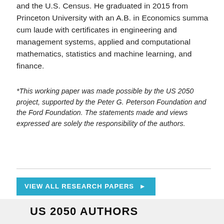and the U.S. Census. He graduated in 2015 from Princeton University with an A.B. in Economics summa cum laude with certificates in engineering and management systems, applied and computational mathematics, statistics and machine learning, and finance.
*This working paper was made possible by the US 2050 project, supported by the Peter G. Peterson Foundation and the Ford Foundation. The statements made and views expressed are solely the responsibility of the authors.
VIEW ALL RESEARCH PAPERS ▶
US 2050 AUTHORS
Gina Adams
Scott Allard
Jason Anastasopoulos
Drew Anderson